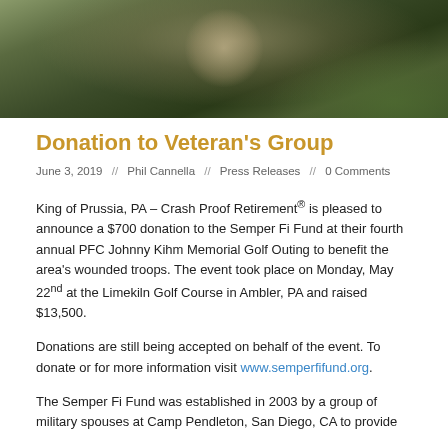[Figure (photo): Outdoor photo showing a person in a golf cart on a golf course, dark and green tones]
Donation to Veteran's Group
June 3, 2019  //  Phil Cannella  //  Press Releases  //  0 Comments
King of Prussia, PA – Crash Proof Retirement® is pleased to announce a $700 donation to the Semper Fi Fund at their fourth annual PFC Johnny Kihm Memorial Golf Outing to benefit the area's wounded troops. The event took place on Monday, May 22nd at the Limekiln Golf Course in Ambler, PA and raised $13,500.
Donations are still being accepted on behalf of the event. To donate or for more information visit www.semperfifund.org.
The Semper Fi Fund was established in 2003 by a group of military spouses at Camp Pendleton, San Diego, CA to provide financial assistance and support to the members of the...